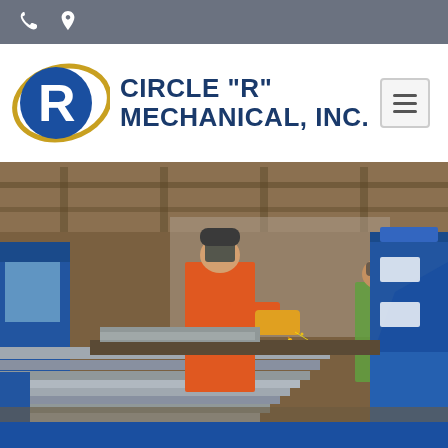Phone and location icons
[Figure (logo): Circle R Mechanical, Inc. company logo with blue circle containing white R letter, gold oval surround, and blue company name text]
[Figure (photo): Industrial workshop scene showing a worker in orange shirt and face shield using an angle grinder on metal channel stock, with sparks flying. A second worker in background. Blue industrial equipment and metal parts visible throughout the shop floor.]